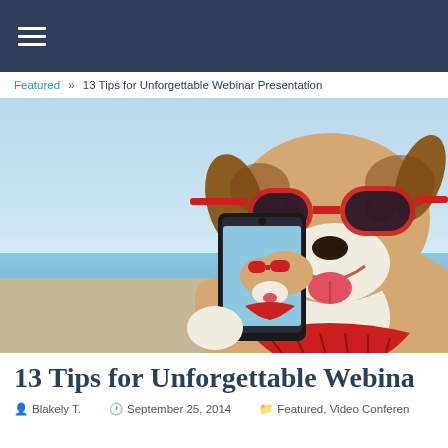Navigation bar with hamburger menu
Featured » 13 Tips for Unforgettable Webinar Presentation
[Figure (photo): A Jack Russell terrier dog wearing oversized red sunglasses, holding a smartphone and taking a selfie with its own picture visible on the phone screen. Ocean/sky blue background.]
13 Tips for Unforgettable Webina
Blakely T.   September 25, 2014   Featured, Video Conferen